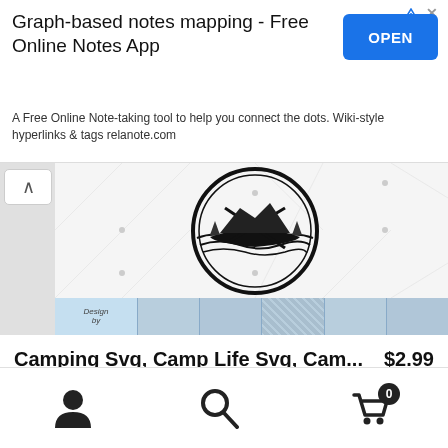[Figure (screenshot): Advertisement banner: Graph-based notes mapping - Free Online Notes App with OPEN button]
Graph-based notes mapping - Free Online Notes App
A Free Online Note-taking tool to help you connect the dots. Wiki-style hyperlinks & tags relanote.com
[Figure (illustration): Camping SVG product preview showing a canoe on water inside a circular badge design with color swatches below]
Camping Svg, Camp Life Svg, Cam...
$2.99
Tiki9 in Graphics, Illustrations
[Figure (screenshot): Add to cart button]
[Figure (screenshot): Subscription banner showing HAPPY text in black and white with + SUBSCRIPTION tag]
[Figure (screenshot): Bottom navigation bar with user/account icon, search icon, and cart icon showing 0 items]